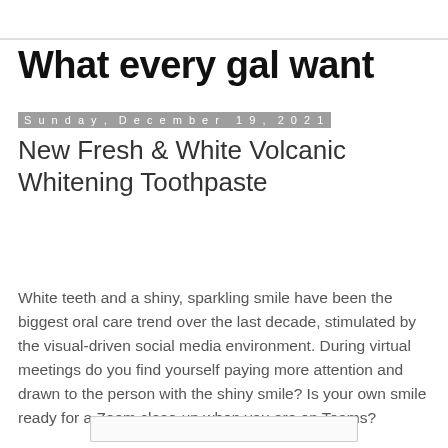What every gal want
Sunday, December 19, 2021
New Fresh & White Volcanic Whitening Toothpaste
White teeth and a shiny, sparkling smile have been the biggest oral care trend over the last decade, stimulated by the visual-driven social media environment. During virtual meetings do you find yourself paying more attention and drawn to the person with the shiny smile? Is your own smile ready for a Zoom close-up when you are on Teams?